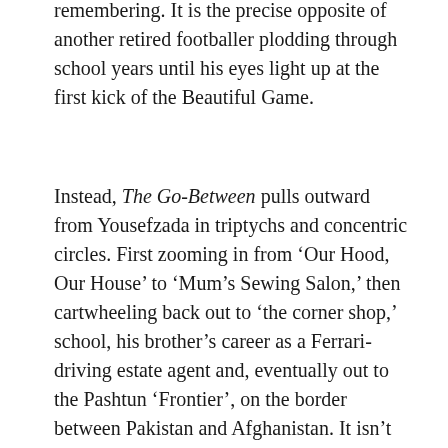remembering. It is the precise opposite of another retired footballer plodding through school years until his eyes light up at the first kick of the Beautiful Game.
Instead, The Go-Between pulls outward from Yousefzada in triptychs and concentric circles. First zooming in from ‘Our Hood, Our House’ to ‘Mum’s Sewing Salon,’ then cartwheeling back out to ‘the corner shop,’ school, his brother’s career as a Ferrari-driving estate agent and, eventually out to the Pashtun ‘Frontier’, on the border between Pakistan and Afghanistan. It isn’t just gratifying to read, it’s associative in the manner of memory and childhood. Like Mulk Raj Anand – a boundary-breaking Anglo-Indian writer and early proponent of the literary,